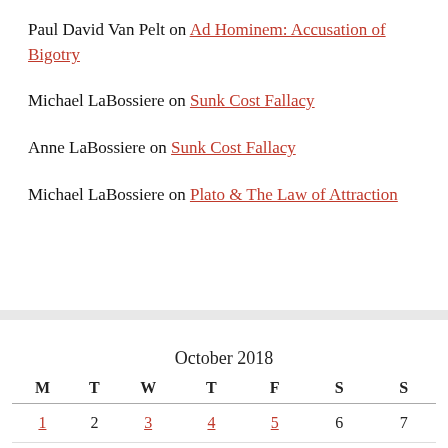Paul David Van Pelt on Ad Hominem: Accusation of Bigotry
Michael LaBossiere on Sunk Cost Fallacy
Anne LaBossiere on Sunk Cost Fallacy
Michael LaBossiere on Plato & The Law of Attraction
| M | T | W | T | F | S | S |
| --- | --- | --- | --- | --- | --- | --- |
| 1 | 2 | 3 | 4 | 5 | 6 | 7 |
| 8 | 9 | 10 | 11 | 12 | 13 | 14 |